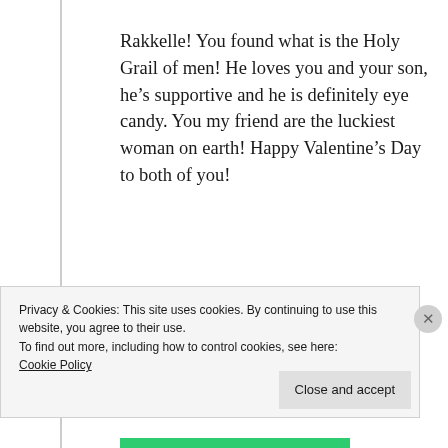Rakkelle! You found what is the Holy Grail of men! He loves you and your son, he's supportive and he is definitely eye candy. You my friend are the luckiest woman on earth! Happy Valentine's Day to both of you!
★ Liked by 1 person
↪ Reply
Privacy & Cookies: This site uses cookies. By continuing to use this website, you agree to their use.
To find out more, including how to control cookies, see here:
Cookie Policy
Close and accept